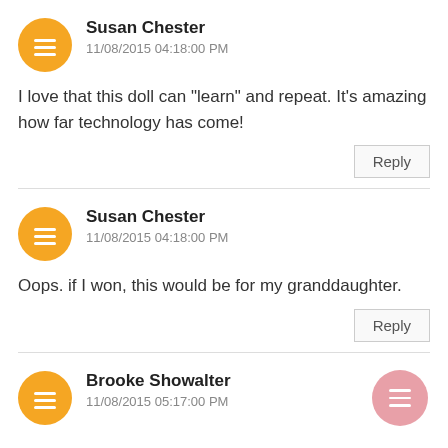Susan Chester — 11/08/2015 04:18:00 PM
I love that this doll can "learn" and repeat. It's amazing how far technology has come!
Susan Chester — 11/08/2015 04:18:00 PM
Oops. if I won, this would be for my granddaughter.
Brooke Showalter — 11/08/2015 05:17:00 PM